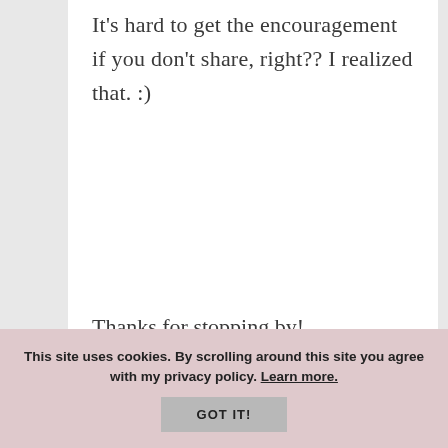It's hard to get the encouragement if you don't share, right?? I realized that. :)
Thanks for stopping by!
Reply
VALERIE SING...
MAY 20, 2015 AT 8:25 AM
This site uses cookies. By scrolling around this site you agree with my privacy policy. Learn more.
GOT IT!